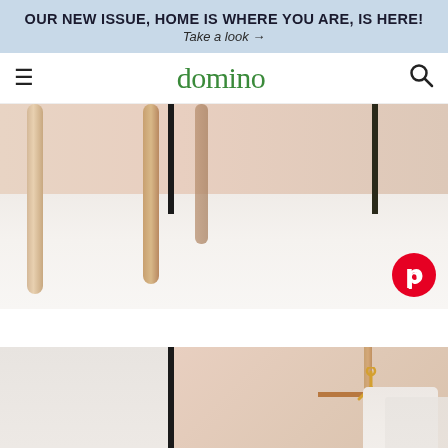OUR NEW ISSUE, HOME IS WHERE YOU ARE, IS HERE! Take a look →
domino
[Figure (photo): Interior room photo showing wooden stool legs on a white painted wood floor with a pink wall behind and a black door frame strip. A Pinterest share button is visible in the bottom right corner.]
[Figure (photo): Interior room photo showing a wooden clothes rack with garments hanging, against a pink wall with a black door frame strip on the left side.]